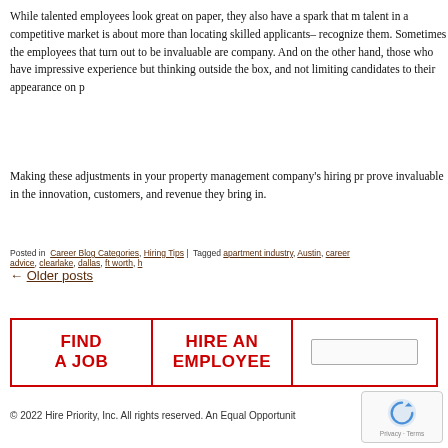While talented employees look great on paper, they also have a spark that m... talent in a competitive market is about more than locating skilled applicants– recognize them. Sometimes the employees that turn out to be invaluable are company. And on the other hand, those who have impressive experience but thinking outside the box, and not limiting candidates to their appearance on p...
Making these adjustments in your property management company's hiring pr... prove invaluable in the innovation, customers, and revenue they bring in.
Posted in Career Blog Categories, Hiring Tips | Tagged apartment industry, Austin, career advice, clearlake, dallas, ft worth, h...
← Older posts
| FIND A JOB | HIRE AN EMPLOYEE |  |
| --- | --- | --- |
© 2022 Hire Priority, Inc. All rights reserved. An Equal Opportunit...